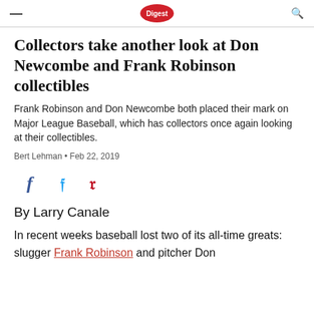Digest
Collectors take another look at Don Newcombe and Frank Robinson collectibles
Frank Robinson and Don Newcombe both placed their mark on Major League Baseball, which has collectors once again looking at their collectibles.
Bert Lehman • Feb 22, 2019
[Figure (infographic): Social share icons: Facebook (f), Twitter (bird), Pinterest (p)]
By Larry Canale
In recent weeks baseball lost two of its all-time greats: slugger Frank Robinson and pitcher Don